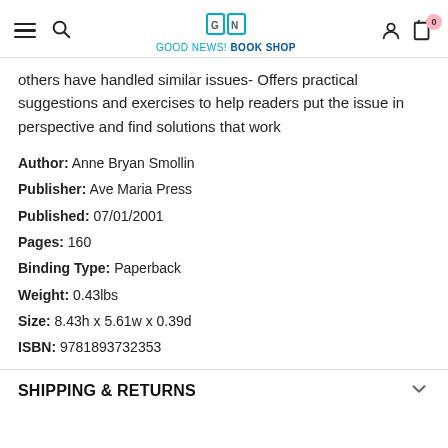GOOD NEWS! BOOK SHOP
others have handled similar issues- Offers practical suggestions and exercises to help readers put the issue in perspective and find solutions that work
Author: Anne Bryan Smollin
Publisher: Ave Maria Press
Published: 07/01/2001
Pages: 160
Binding Type: Paperback
Weight: 0.43lbs
Size: 8.43h x 5.61w x 0.39d
ISBN: 9781893732353
SHIPPING & RETURNS